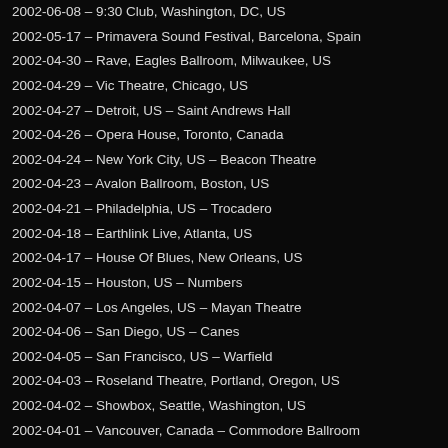2002-06-08 – 9:30 Club, Washington, DC, US
2002-05-17 – Primavera Sound Festival, Barcelona, Spain
2002-04-30 – Rave, Eagles Ballroom, Milwaukee, US
2002-04-29 – Vic Theatre, Chicago, US
2002-04-27 – Detroit, US – Saint Andrews Hall
2002-04-26 – Opera House, Toronto, Canada
2002-04-24 – New York City, US – Beacon Theatre
2002-04-23 – Avalon Ballroom, Boston, US
2002-04-21 – Philadelphia, US – Trocadero
2002-04-18 – Earthlink Live, Atlanta, US
2002-04-17 – House Of Blues, New Orleans, US
2002-04-15 – Houston, US – Numbers
2002-04-07 – Los Angeles, US – Mayan Theatre
2002-04-06 – San Diego, US – Canes
2002-04-05 – San Francisco, US – Warfield
2002-04-03 – Roseland Theatre, Portland, Oregon, US
2002-04-02 – Showbox, Seattle, Washington, US
2002-04-01 – Vancouver, Canada – Commodore Ballroom
2002-03-08 – Brixton Academy, London, England, UK
2002-03-07 – Southampton, UK – Guildhall